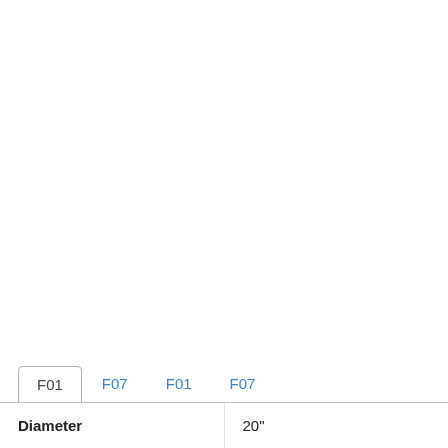| Diameter | 20" |
| --- | --- |